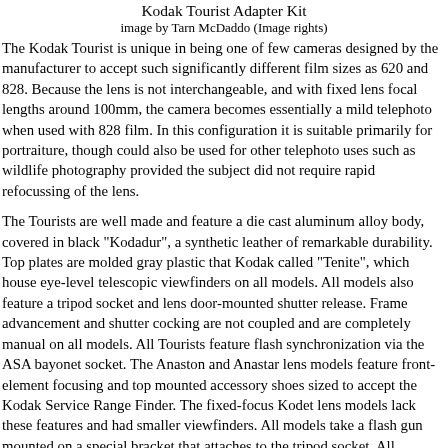Kodak Tourist Adapter Kit
image by Tarn McDaddo (Image rights)
The Kodak Tourist is unique in being one of few cameras designed by the manufacturer to accept such significantly different film sizes as 620 and 828. Because the lens is not interchangeable, and with fixed lens focal lengths around 100mm, the camera becomes essentially a mild telephoto when used with 828 film. In this configuration it is suitable primarily for portraiture, though could also be used for other telephoto uses such as wildlife photography provided the subject did not require rapid refocussing of the lens.
The Tourists are well made and feature a die cast aluminum alloy body, covered in black "Kodadur", a synthetic leather of remarkable durability. Top plates are molded gray plastic that Kodak called "Tenite", which house eye-level telescopic viewfinders on all models. All models also feature a tripod socket and lens door-mounted shutter release. Frame advancement and shutter cocking are not coupled and are completely manual on all models. All Tourists feature flash synchronization via the ASA bayonet socket. The Anaston and Anastar lens models feature front-element focusing and top mounted accessory shoes sized to accept the Kodak Service Range Finder. The fixed-focus Kodet lens models lack these features and had smaller viewfinders. All models take a flash gun mounted on a special bracket that attaches to the tripod socket. All Tourists had sockets for